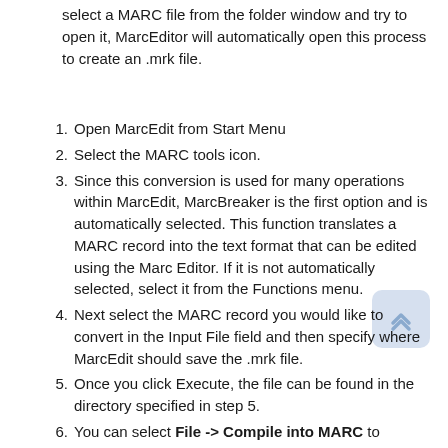select a MARC file from the folder window and try to open it, MarcEditor will automatically open this process to create an .mrk file.
Open MarcEdit from Start Menu
Select the MARC tools icon.
Since this conversion is used for many operations within MarcEdit, MarcBreaker is the first option and is automatically selected. This function translates a MARC record into the text format that can be edited using the Marc Editor. If it is not automatically selected, select it from the Functions menu.
Next select the MARC record you would like to convert in the Input File field and then specify where MarcEdit should save the .mrk file.
Once you click Execute, the file can be found in the directory specified in step 5.
You can select File -> Compile into MARC to convert this edited file (once opened) back into a MARC record.